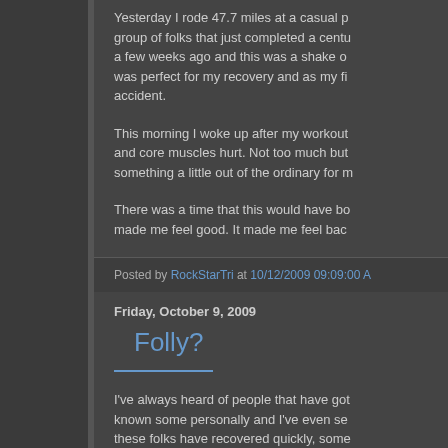Yesterday I rode 47.7 miles at a casual p... group of folks that just completed a centu... a few weeks ago and this was a shake o... was perfect for my recovery and as my fi... accident.
This morning I woke up after my workout ... and core muscles hurt. Not too much but... something a little out of the ordinary for m...
There was a time that this would have bo... made me feel good. It made me feel bac...
Posted by RockStarTri at 10/12/2009 09:09:00 A...
Friday, October 9, 2009
Folly?
I've always heard of people that have got... known some personally and I've even se... these folks have recovered quickly, some... recoveries and others, with drastic injurie...